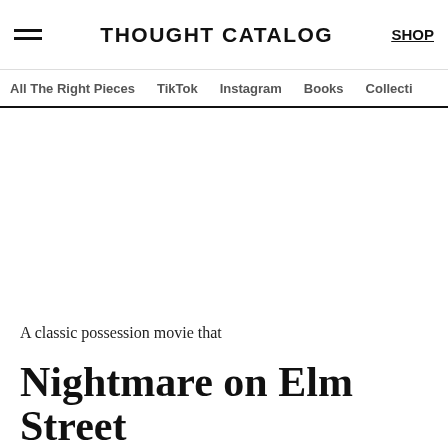THOUGHT CATALOG | SHOP
All The Right Pieces | TikTok | Instagram | Books | Collecti
A classic possession movie that
Nightmare on Elm Street 2: Freddy's Revenge